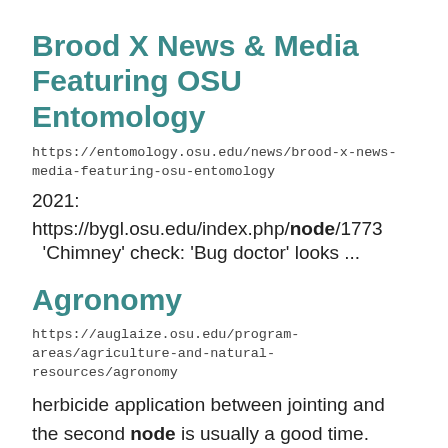Brood X News & Media Featuring OSU Entomology
https://entomology.osu.edu/news/brood-x-news-media-featuring-osu-entomology
2021:
https://bygl.osu.edu/index.php/node/1773
'Chimney' check: 'Bug doctor' looks ...
Agronomy
https://auglaize.osu.edu/program-areas/agriculture-and-natural-resources/agronomy
herbicide application between jointing and the second node is usually a good time. Talinor is a new winter...have a serrated